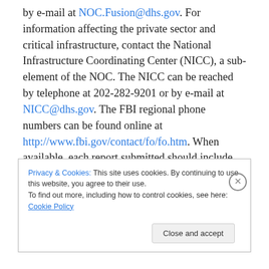by e-mail at NOC.Fusion@dhs.gov. For information affecting the private sector and critical infrastructure, contact the National Infrastructure Coordinating Center (NICC), a sub-element of the NOC. The NICC can be reached by telephone at 202-282-9201 or by e-mail at NICC@dhs.gov. The FBI regional phone numbers can be found online at http://www.fbi.gov/contact/fo/fo.htm. When available, each report submitted should include the date, time, location, type of activity, number of people and type of equipment used for the activity, the name of the submitting company or organization, and a designated
Privacy & Cookies: This site uses cookies. By continuing to use this website, you agree to their use. To find out more, including how to control cookies, see here: Cookie Policy